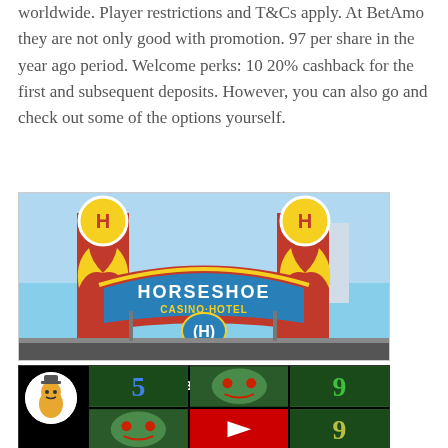worldwide. Player restrictions and T&Cs apply. At BetAmo they are not only good with promotion. 97 per share in the year ago period. Welcome perks: 10 20% cashback for the first and subsequent deposits. However, you can also go and check out some of the options yourself.
[Figure (photo): Exterior photo of Horseshoe Casino Hotel at dusk, showing illuminated red and gold sign with two H logos on towers, blue arch with 'HORSESHOE CASINO·HOTEL' text, and (H) emblem below]
[Figure (screenshot): YouTube video thumbnail showing 'WHEN IS THE BES...' title with a cartoon character avatar (peanut/nut with hat), slot machine reels with numbers 5 and 9, green demon/mask faces, and YouTube play button overlay]